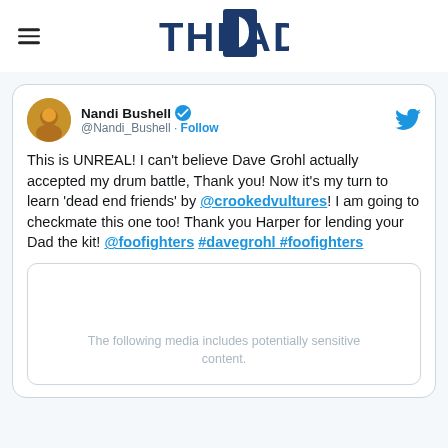THE DAD
[Figure (screenshot): Tweet by Nandi Bushell (@Nandi_Bushell) with verified badge and Follow button. Text: This is UNREAL! I can't believe Dave Grohl actually accepted my drum battle, Thank you! Now it's my turn to learn 'dead end friends' by @crookedvultures! I am going to checkmate this one too! Thank you Harper for lending your Dad the kit! @foofighters #davegrohl #foofighters. Below is a media box with sensitive content warning: The following media includes potentially sensitive content.]